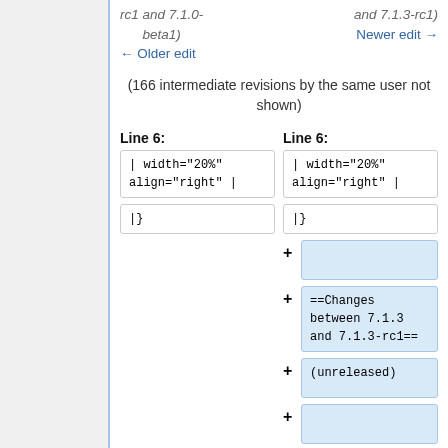rc1 and 7.1.0-beta1)
and 7.1.3-rc1) Newer edit →
← Older edit
(166 intermediate revisions by the same user not shown)
Line 6:
Line 6:
| width="20%" align="right"  |
| width="20%" align="right"  |
|}
|}
==Changes between 7.1.3 and 7.1.3-rc1==
(unreleased)